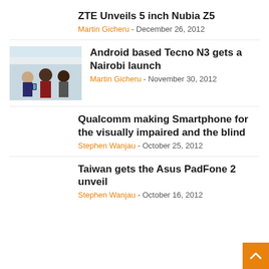ZTE Unveils 5 inch Nubia Z5
Martin Gicheru - December 26, 2012
[Figure (photo): Three men at an outdoor event, one holding a smartphone, at the Android based Tecno N3 Nairobi launch]
Android based Tecno N3 gets a Nairobi launch
Martin Gicheru - November 30, 2012
Qualcomm making Smartphone for the visually impaired and the blind
Stephen Wanjau - October 25, 2012
Taiwan gets the Asus PadFone 2 unveil
Stephen Wanjau - October 16, 2012